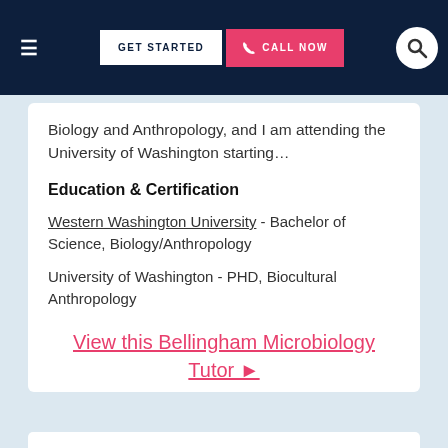GET STARTED | CALL NOW
Biology and Anthropology, and I am attending the University of Washington starting…
Education & Certification
Western Washington University - Bachelor of Science, Biology/Anthropology
University of Washington - PHD, Biocultural Anthropology
View this Bellingham Microbiology Tutor ▶